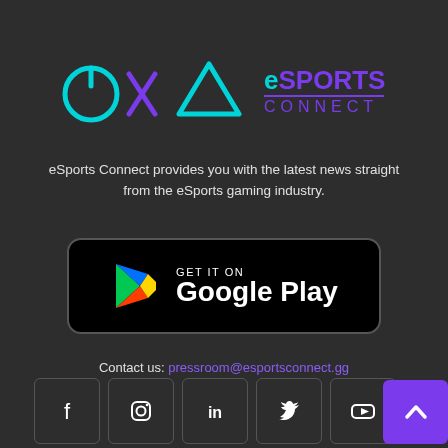[Figure (logo): OXA eSports Connect logo with cyan and purple geometric icons and text]
eSports Connect provides you with the latest news straight from the eSports gaming industry.
[Figure (illustration): GET IT ON Google Play button badge with Google Play triangle logo]
Contact us: pressroom@esportsconnect.gg
[Figure (infographic): Social media icons: Facebook, Instagram, LinkedIn, Twitter, YouTube]
[Figure (infographic): Scroll to top button (purple with up arrow)]